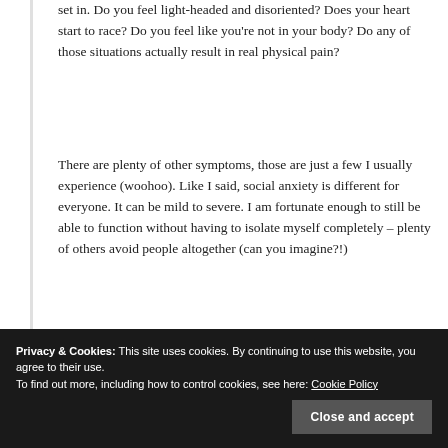set in. Do you feel light-headed and disoriented? Does your heart start to race? Do you feel like you're not in your body? Do any of those situations actually result in real physical pain?
There are plenty of other symptoms, those are just a few I usually experience (woohoo). Like I said, social anxiety is different for everyone. It can be mild to severe. I am fortunate enough to still be able to function without having to isolate myself completely – plenty of others avoid people altogether (can you imagine?!)
Do as much research as you can and if you think you might have social anxiety, do to a
Privacy & Cookies: This site uses cookies. By continuing to use this website, you agree to their use.
To find out more, including how to control cookies, see here: Cookie Policy